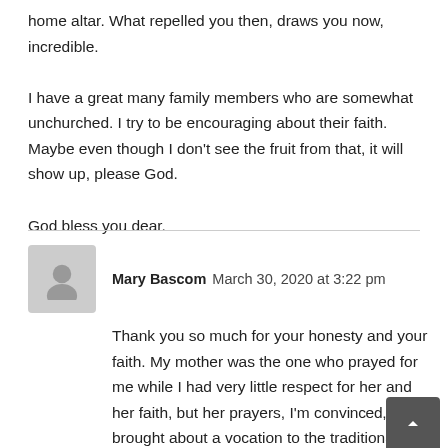home altar. What repelled you then, draws you now, incredible.
I have a great many family members who are somewhat unchurched. I try to be encouraging about their faith. Maybe even though I don't see the fruit from that, it will show up, please God.
God bless you dear.
Mary Bascom  March 30, 2020 at 3:22 pm
Thank you so much for your honesty and your faith. My mother was the one who prayed for me while I had very little respect for her and her faith, but her prayers, I'm convinced, brought about a vocation to the traditional